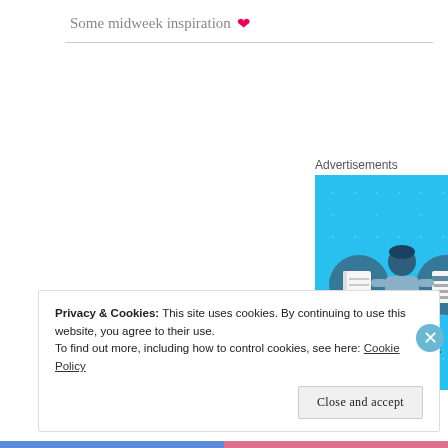Some midweek inspiration ❤
Advertisements
[Figure (illustration): Day One app advertisement showing a cartoon figure of a person looking at a phone, flanked by two circular icons with notebook/journal imagery, on a bright blue background with the text 'DAY ONE' at the bottom]
Privacy & Cookies: This site uses cookies. By continuing to use this website, you agree to their use.
To find out more, including how to control cookies, see here: Cookie Policy
Close and accept